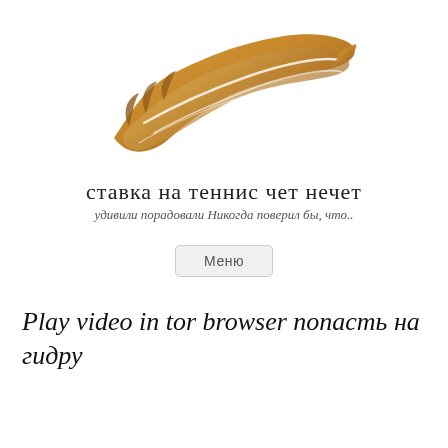[Figure (logo): Golden/brown decorative leaf or feather ornament logo]
ставка на теннис чет нечет
удивили порадовали Никогда поверил бы, что..
Меню
Play video in tor browser попасть на гидру